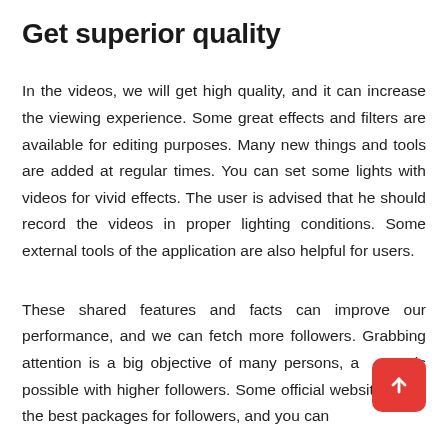Get superior quality
In the videos, we will get high quality, and it can increase the viewing experience. Some great effects and filters are available for editing purposes. Many new things and tools are added at regular times. You can set some lights with videos for vivid effects. The user is advised that he should record the videos in proper lighting conditions. Some external tools of the application are also helpful for users.
These shared features and facts can improve our performance, and we can fetch more followers. Grabbing attention is a big objective of many persons, and this is possible with higher followers. Some official websites offer the best packages for followers, and you can